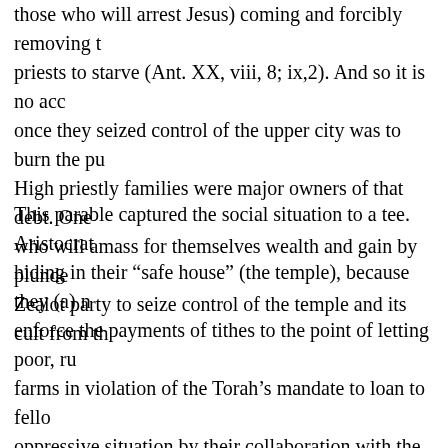those who will arrest Jesus) coming and forcibly removing t priests to starve (Ant. XX, viii, 8; ix,2). And so it is no acc once they seized control of the upper city was to burn the pu High priestly families were major owners of that debt. One who will amass for themselves wealth and gain by plunde Zealot party to seize control of the temple and its cult from th
This parable captured the social situation to a tee. Aristocrat hiding in their “safe house” (the temple), because they (a) n enforce the payments of tithes to the point of letting poor, ru farms in violation of the Torah’s mandate to loan to fello oppressive situation by their collaboration with the Romans temple as a place and platform to plot their revolts, especially homes of widows, while at the same time showing off with advantage of the very ones they were sent to serve. As a co and given to another. Jesus warns that the stone/son [a He cornerstone. The crucified Jesus, God’s son (ben), replaces t